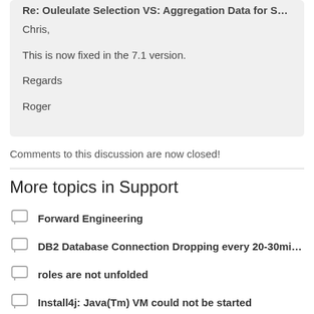Re: Ouleulate Selection VS: Aggregation Data for Selection:
Chris,

This is now fixed in the 7.1 version.

Regards

Roger
Comments to this discussion are now closed!
More topics in Support
Forward Engineering
DB2 Database Connection Dropping every 20-30mins...
roles are not unfolded
Install4j: Java(Tm) VM could not be started
Worksheet name default when exporting to Excel?